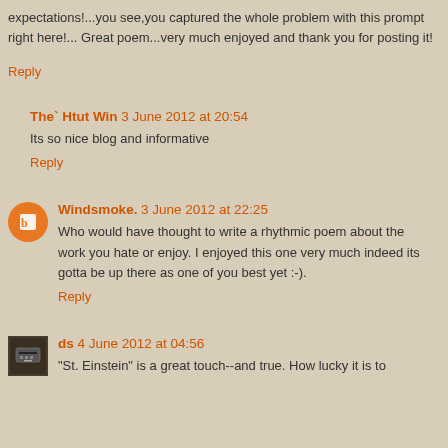expectations!...you see,you captured the whole problem with this prompt right here!... Great poem...very much enjoyed and thank you for posting it!
Reply
The` Htut Win 3 June 2012 at 20:54
Its so nice blog and informative
Reply
Windsmoke. 3 June 2012 at 22:25
Who would have thought to write a rhythmic poem about the work you hate or enjoy. I enjoyed this one very much indeed its gotta be up there as one of you best yet :-).
Reply
ds 4 June 2012 at 04:56
"St. Einstein" is a great touch--and true. How lucky it is to